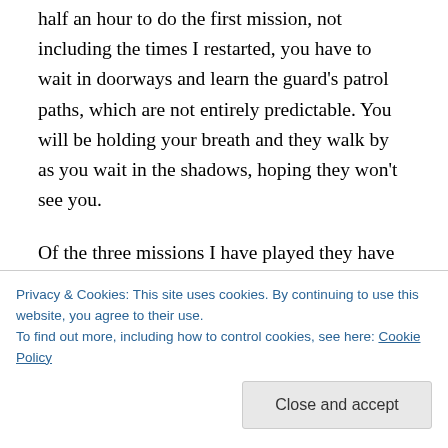half an hour to do the first mission, not including the times I restarted, you have to wait in doorways and learn the guard's patrol paths, which are not entirely predictable. You will be holding your breath and they walk by as you wait in the shadows, hoping they won't see you.
Of the three missions I have played they have been quite varied so far. The first was to break a servant out of a mansion for her lover, a friend of yours (and pick up a bit of gold while you were in there why not?). The second was a more straightforward job of your own devising, breaking
Privacy & Cookies: This site uses cookies. By continuing to use this website, you agree to their use.
To find out more, including how to control cookies, see here: Cookie Policy
Close and accept